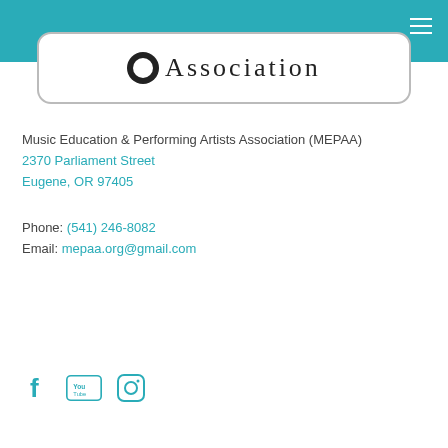[Figure (logo): MEPAA logo: black circle with white inner circle, followed by the word 'Association' in serif font, inside a rounded rectangle border]
Music Education & Performing Artists Association (MEPAA)
2370 Parliament Street
Eugene, OR 97405
Phone: (541) 246-8082
Email: mepaa.org@gmail.com
PayPal Or Visa Donation
[Figure (other): Social media icons: Facebook, YouTube, and Instagram icons in teal/gray color]